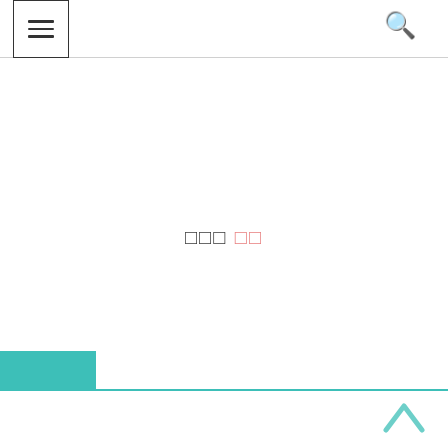[Figure (screenshot): Navigation header with hamburger menu icon in a bordered box on the left and a search magnifying glass icon on the right]
□□□ □□
[Figure (illustration): Teal/turquoise colored rectangular block at bottom left, a horizontal teal line spanning full width, and a teal upward-pointing chevron arrow at bottom right for scroll-to-top functionality]